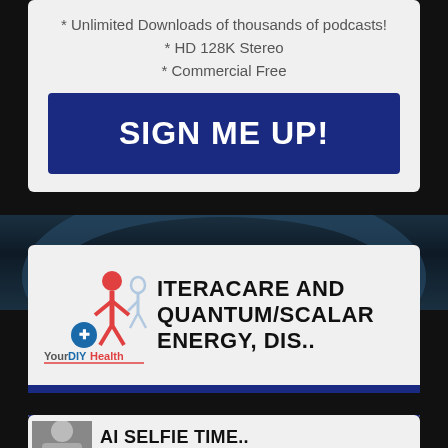* Unlimited Downloads of thousands of podcasts!
* HD 128K Stereo
* Commercial Free
[Figure (other): Blue Sign Me Up button]
[Figure (logo): YourDIYHealth logo with figure and text]
ITERACARE AND QUANTUM/SCALAR ENERGY, DIS..
YOUR DIY HEALTH
EPISODE #370
AI SELFIE TIME..